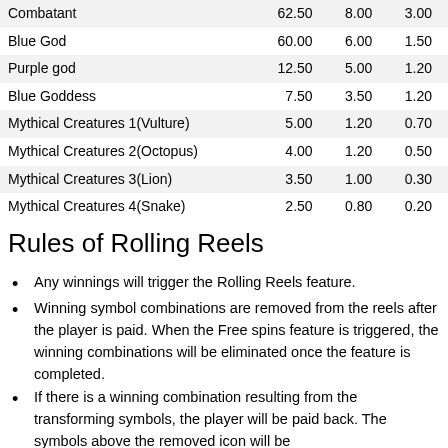| Symbol | 5 of a kind | 4 of a kind | 3 of a kind |
| --- | --- | --- | --- |
| Combatant | 62.50 | 8.00 | 3.00 |
| Blue God | 60.00 | 6.00 | 1.50 |
| Purple god | 12.50 | 5.00 | 1.20 |
| Blue Goddess | 7.50 | 3.50 | 1.20 |
| Mythical Creatures 1(Vulture) | 5.00 | 1.20 | 0.70 |
| Mythical Creatures 2(Octopus) | 4.00 | 1.20 | 0.50 |
| Mythical Creatures 3(Lion) | 3.50 | 1.00 | 0.30 |
| Mythical Creatures 4(Snake) | 2.50 | 0.80 | 0.20 |
Rules of Rolling Reels
Any winnings will trigger the Rolling Reels feature.
Winning symbol combinations are removed from the reels after the player is paid. When the Free spins feature is triggered, the winning combinations will be eliminated once the feature is completed.
If there is a winning combination resulting from the transforming symbols, the player will be paid back. The symbols above the removed icon will be